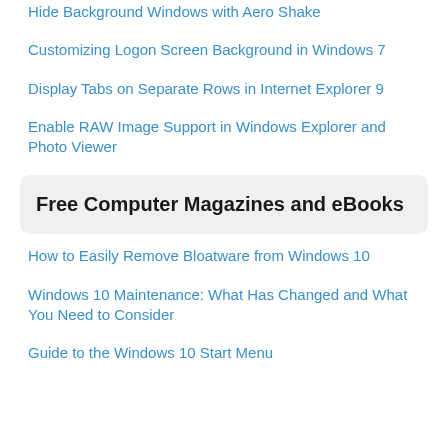Hide Background Windows with Aero Shake
Customizing Logon Screen Background in Windows 7
Display Tabs on Separate Rows in Internet Explorer 9
Enable RAW Image Support in Windows Explorer and Photo Viewer
Free Computer Magazines and eBooks
How to Easily Remove Bloatware from Windows 10
Windows 10 Maintenance: What Has Changed and What You Need to Consider
Guide to the Windows 10 Start Menu